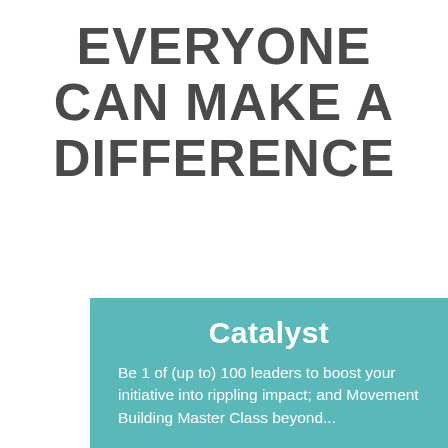EVERYONE CAN MAKE A DIFFERENCE
Catalyst
Be 1 of (up to) 100 leaders to boost your initiative into rippling impact; and Movement Building Master Class beyond...